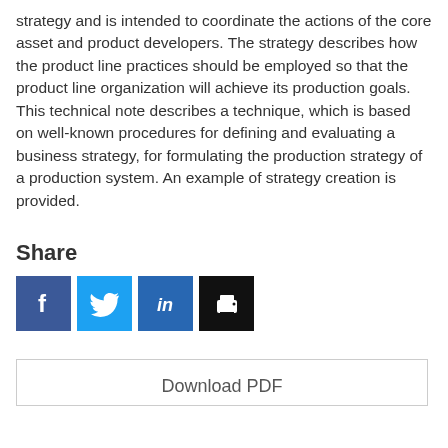strategy and is intended to coordinate the actions of the core asset and product developers. The strategy describes how the product line practices should be employed so that the product line organization will achieve its production goals. This technical note describes a technique, which is based on well-known procedures for defining and evaluating a business strategy, for formulating the production strategy of a production system. An example of strategy creation is provided.
Share
[Figure (other): Social sharing icons: Facebook (blue), Twitter (light blue), LinkedIn (blue), Print (black)]
Download PDF